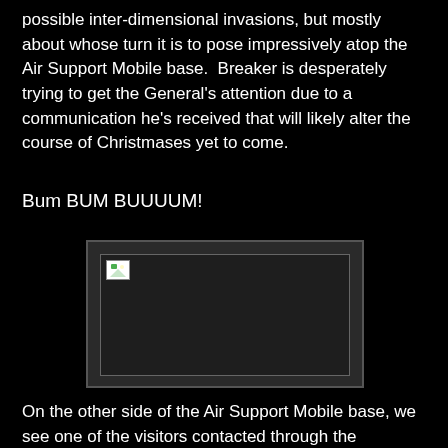possible inter-dimensional invasions, but mostly about whose turn it is to pose impressively atop the Air Support Mobile base.  Breaker is desperately trying to get the General's attention due to a communication he's received that will likely alter the course of Christmases yet to come.
Bum BUM BUUUUM!
[Figure (photo): A dark rectangular image placeholder with a broken image icon in the upper left corner, surrounded by a dark gray border on a black background.]
On the other side of the Air Support Mobile base, we see one of the visitors contacted through the dimensional portal